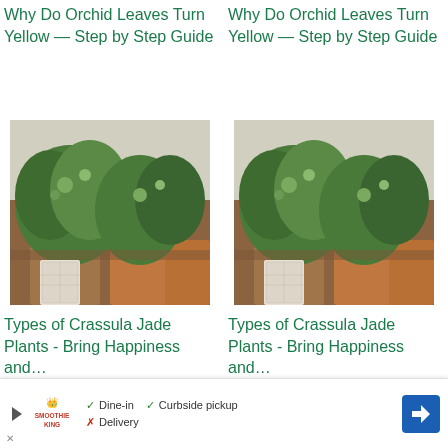Why Do Orchid Leaves Turn Yellow — Step by Step Guide
Why Do Orchid Leaves Turn Yellow — Step by Step Guide
[Figure (photo): Potted succulent and crassula jade plants on a wooden shelf with terracotta pots]
[Figure (photo): Potted succulent and crassula jade plants on a wooden shelf with terracotta pots]
Types of Crassula Jade Plants - Bring Happiness and…
Types of Crassula Jade Plants - Bring Happiness and…
[Figure (photo): Partial thumbnail image - brownish/tan background]
[Figure (photo): Partial thumbnail image - dark green foliage]
Dine-in  Curbside pickup  Delivery (ad bar - Smoothie King)